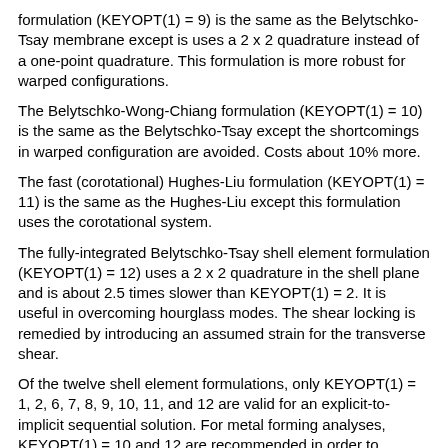formulation (KEYOPT(1) = 9) is the same as the Belytschko-Tsay membrane except is uses a 2 x 2 quadrature instead of a one-point quadrature. This formulation is more robust for warped configurations.
The Belytschko-Wong-Chiang formulation (KEYOPT(1) = 10) is the same as the Belytschko-Tsay except the shortcomings in warped configuration are avoided. Costs about 10% more.
The fast (corotational) Hughes-Liu formulation (KEYOPT(1) = 11) is the same as the Hughes-Liu except this formulation uses the corotational system.
The fully-integrated Belytschko-Tsay shell element formulation (KEYOPT(1) = 12) uses a 2 x 2 quadrature in the shell plane and is about 2.5 times slower than KEYOPT(1) = 2. It is useful in overcoming hourglass modes. The shear locking is remedied by introducing an assumed strain for the transverse shear.
Of the twelve shell element formulations, only KEYOPT(1) = 1, 2, 6, 7, 8, 9, 10, 11, and 12 are valid for an explicit-to-implicit sequential solution. For metal forming analyses, KEYOPT(1) = 10 and 12 are recommended in order to properly account for warping.
When the Mooney-Rivlin Rubber material model is used with SHELL163 elements, the LS-DYNA code will automatically